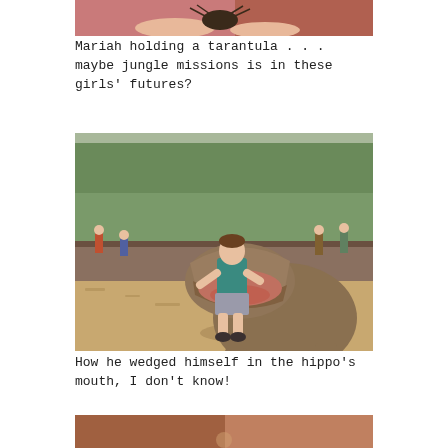[Figure (photo): Top portion of a photo showing a person in a pink top holding a tarantula in their hands]
Mariah holding a tarantula . . . maybe jungle missions is in these girls' futures?
[Figure (photo): A young boy wedged inside the open mouth of a bronze hippo statue at a zoo or park, with trees and other visitors visible in the background]
How he wedged himself in the hippo's mouth, I don't know!
[Figure (photo): Bottom portion of another photo, partially visible]